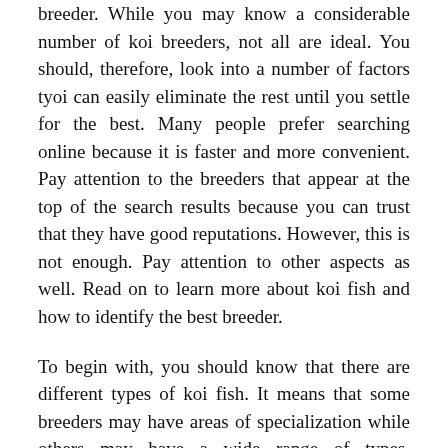breeder. While you may know a considerable number of koi breeders, not all are ideal. You should, therefore, look into a number of factors tyoi can easily eliminate the rest until you settle for the best. Many people prefer searching online because it is faster and more convenient. Pay attention to the breeders that appear at the top of the search results because you can trust that they have good reputations. However, this is not enough. Pay attention to other aspects as well. Read on to learn more about koi fish and how to identify the best breeder.
To begin with, you should know that there are different types of koi fish. It means that some breeders may have areas of specialization while others may have a wide range of types. Therefore, you should research to know the most suitable type of koi fish depending on your needs. The good thing is that since many breeders have websites, you don't have to visit their farms to know more about them. Find time to visit their websites so you